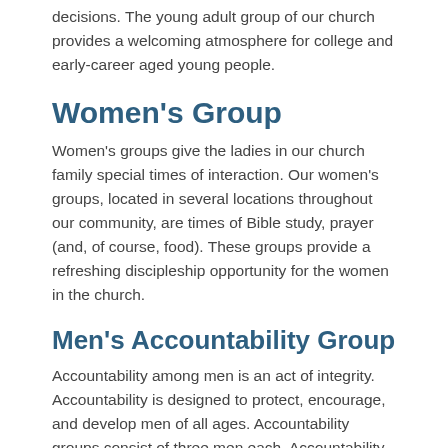decisions. The young adult group of our church provides a welcoming atmosphere for college and early-career aged young people.
Women's Group
Women's groups give the ladies in our church family special times of interaction. Our women's groups, located in several locations throughout our community, are times of Bible study, prayer (and, of course, food). These groups provide a refreshing discipleship opportunity for the women in the church.
Men's Accountability Group
Accountability among men is an act of integrity. Accountability is designed to protect, encourage, and develop men of all ages. Accountability groups consist of three men each. Accountability groups meet together as their schedules allow and keep in touch by email or phone.